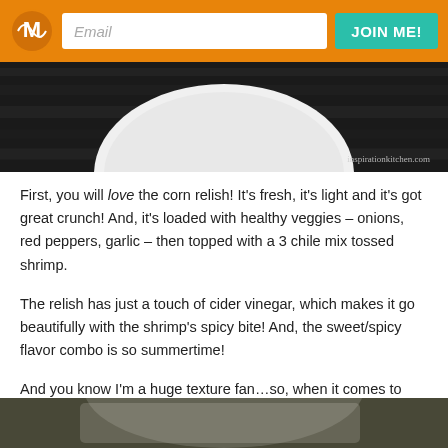Email | JOIN ME!
[Figure (photo): Dark background photo showing top of a white plate, with watermark 'inspirationkitchen.com']
First, you will love the corn relish!  It's fresh, it's light and it's got great crunch!  And, it's loaded with healthy veggies – onions, red peppers, garlic – then topped with a 3 chile mix tossed shrimp.
The relish has just a touch of cider vinegar, which makes it go beautifully with the shrimp's spicy bite! And, the sweet/spicy flavor combo is so summertime!
And you know I'm a huge texture fan…so, when it comes to crunchy, chewy and all-around flavor/texture explosion – hello!...I am there!
[Figure (photo): Bottom partial photo strip showing food item]